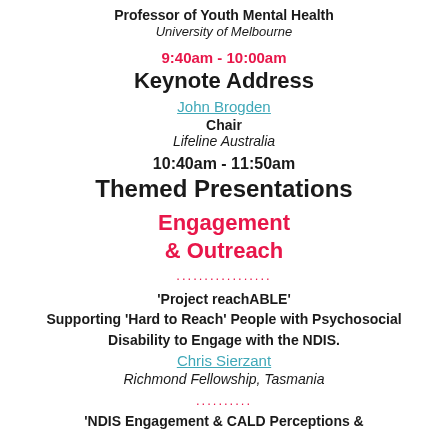Professor of Youth Mental Health
University of Melbourne
9:40am - 10:00am
Keynote Address
John Brogden
Chair
Lifeline Australia
10:40am - 11:50am
Themed Presentations
Engagement & Outreach
................
'Project reachABLE' Supporting 'Hard to Reach' People with Psychosocial Disability to Engage with the NDIS.
Chris Sierzant
Richmond Fellowship, Tasmania
..........
'NDIS Engagement & CALD Perceptions &